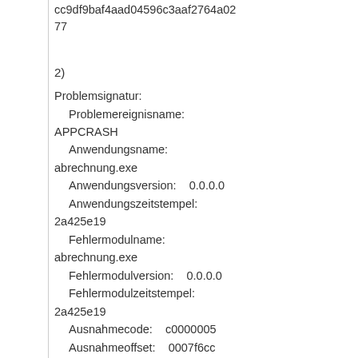cc9df9baf4aad04596c3aaf2764a0277
2)
Problemsignatur:
  Problemereignisname: APPCRASH
  Anwendungsname: abrechnung.exe
  Anwendungsversion:    0.0.0.0
  Anwendungszeitstempel: 2a425e19
  Fehlermodulname: abrechnung.exe
  Fehlermodulversion:    0.0.0.0
  Fehlermodulzeitstempel: 2a425e19
  Ausnahmecode:    c0000005
  Ausnahmeoffset:    0007f6cc
  Betriebsystemversion: